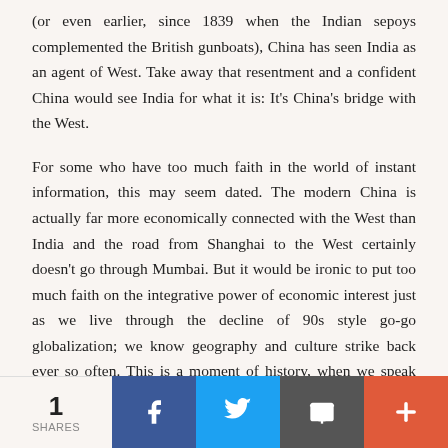(or even earlier, since 1839 when the Indian sepoys complemented the British gunboats), China has seen India as an agent of West. Take away that resentment and a confident China would see India for what it is: It's China's bridge with the West.
For some who have too much faith in the world of instant information, this may seem dated. The modern China is actually far more economically connected with the West than India and the road from Shanghai to the West certainly doesn't go through Mumbai. But it would be ironic to put too much faith on the integrative power of economic interest just as we live through the decline of 90s style go-go globalization; we know geography and culture strike back ever so often. This is a moment of history, when we speak about 'decoupling' of China and the West. On the same token, this is the time to
1 SHARES | Facebook | Twitter | Email | More